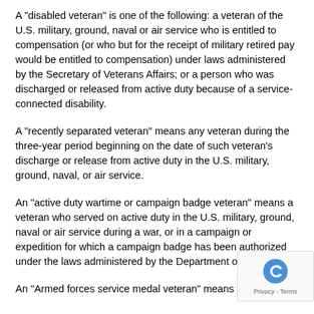A "disabled veteran" is one of the following: a veteran of the U.S. military, ground, naval or air service who is entitled to compensation (or who but for the receipt of military retired pay would be entitled to compensation) under laws administered by the Secretary of Veterans Affairs; or a person who was discharged or released from active duty because of a service-connected disability.
A "recently separated veteran" means any veteran during the three-year period beginning on the date of such veteran's discharge or release from active duty in the U.S. military, ground, naval, or air service.
An "active duty wartime or campaign badge veteran" means a veteran who served on active duty in the U.S. military, ground, naval or air service during a war, or in a campaign or expedition for which a campaign badge has been authorized under the laws administered by the Department of Defense.
An "Armed forces service medal veteran" means a